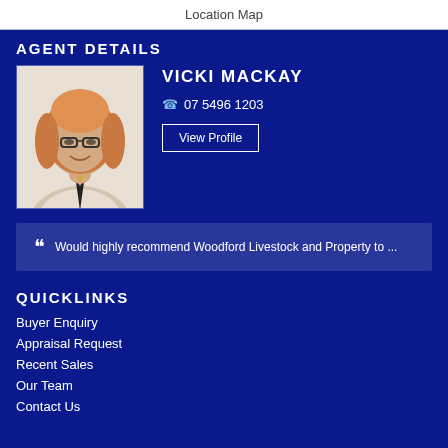Location Map
AGENT DETAILS
[Figure (photo): Portrait photo of Vicki Mackay, a woman with blonde/auburn hair and glasses, wearing a light top]
VICKI MACKAY
07 5496 1203
View Profile
Would highly recommend Woodford Livestock and Property to ...
QUICKLINKS
Buyer Enquiry
Appraisal Request
Recent Sales
Our Team
Contact Us